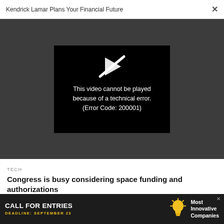Kendrick Lamar Plans Your Financial Future ×
[Figure (screenshot): Video player showing error message: 'This video cannot be played because of a technical error. (Error Code: 200001)' with a broken play icon on black background, set against a dark gray video area background.]
TECH
Congress is busy considering space funding and authorizations
TECH
For tech to work for everyone, we need commitment
[Figure (infographic): Advertisement banner: 'CALL FOR ENTRIES DEADLINE: SEPTEMBER 23' with light bulb icon and 'Most Innovative Companies' text on dark background.]